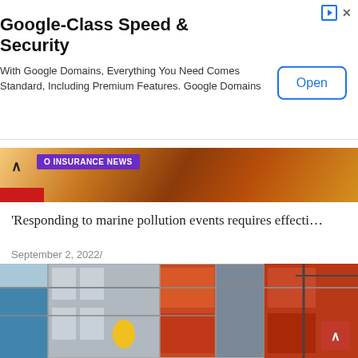[Figure (screenshot): Google Domains advertisement banner with title 'Google-Class Speed & Security', description text, and an Open button]
Google-Class Speed & Security
With Google Domains, Everything You Need Comes Standard, Including Premium Features. Google Domains
[Figure (screenshot): Insurance news article card with purple 'O INSURANCE NEWS' badge over a fire/smoke background image, a red bar, and article title]
'Responding to marine pollution events requires effecti…
September 2, 2022/
[Figure (photo): Construction scaffolding photo showing workers on scaffolding with red and blue panels on a building under construction]